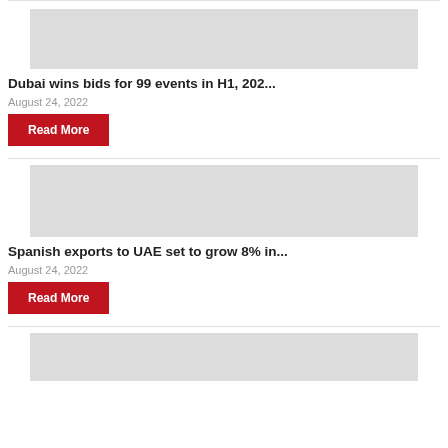[Figure (photo): Gray placeholder image for Dubai article]
Dubai wins bids for 99 events in H1, 202...
August 24, 2022
Read More
[Figure (photo): Gray placeholder image for Spanish exports article]
Spanish exports to UAE set to grow 8% in...
August 24, 2022
Read More
[Figure (photo): Gray placeholder image for third article (partially visible)]